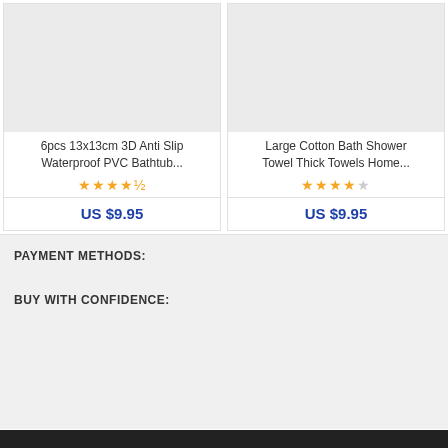[Figure (other): Product card image placeholder (gray) for 6pcs 13x13cm 3D Anti Slip Waterproof PVC Bathtub item]
6pcs 13x13cm 3D Anti Slip Waterproof PVC Bathtub...
★★★★☆ (4.5 stars)
US $9.95
[Figure (other): Product card image placeholder (gray) for Large Cotton Bath Shower Towel Thick Towels Home item]
Large Cotton Bath Shower Towel Thick Towels Home...
★★★★☆ (3.5 stars)
US $9.95
PAYMENT METHODS:
BUY WITH CONFIDENCE: